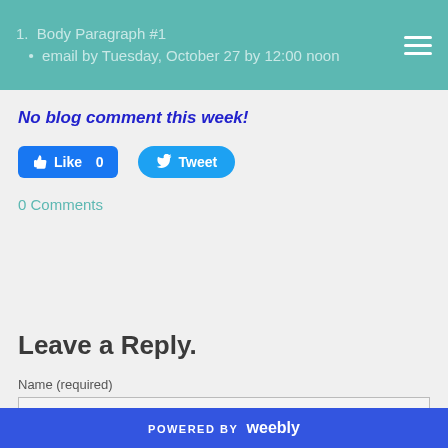1. Body Paragraph #1
• email by Tuesday, October 27 by 12:00 noon
No blog comment this week!
[Figure (screenshot): Facebook Like button with count 0 and Twitter Tweet button]
0 Comments
Leave a Reply.
Name (required)
[Figure (screenshot): Empty text input field for Name]
Email (not published)
POWERED BY weebly